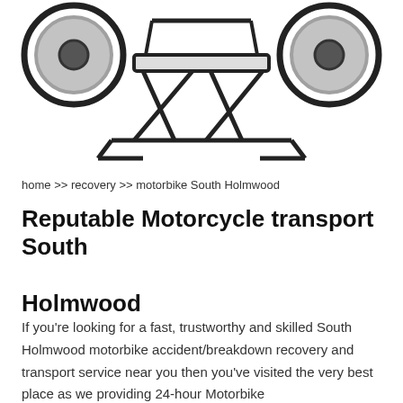[Figure (illustration): Line art illustration of a motorcycle on a lift/stand, viewed from the front. The motorcycle wheels are visible on either side and the lift stand is shown in the center with an X-cross frame structure.]
home >> recovery >> motorbike South Holmwood
Reputable Motorcycle transport South Holmwood
If you're looking for a fast, trustworthy and skilled South Holmwood motorbike accident/breakdown recovery and transport service near you then you've visited the very best place as we providing 24-hour Motorbike accident/breakdown recovery